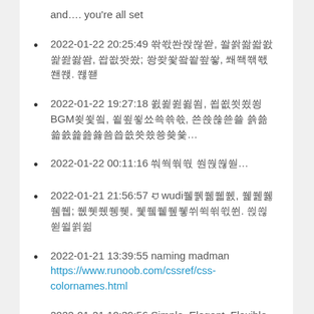and…. you're all set
2022-01-22 20:25:49 쏶쏷쏸쏹쏺쏻, 쏼쏽쏾쏿쐀쐁쐂쐃쐄, 쐅쐆쐇쐈; 쐉쐊쐋쐌쐍쐎쐏, 쐐쐑쐒쐓쐔쐕. 쐖쐗
2022-01-22 19:27:18 쐸쐹쐺쐻쐼, 쐽쐾쐿쑀쑁BGM쑂쑃쑄, 쑅쑆쑇쑈쑉쑊쑋, 쑌쑍쑎쑏쑐 쑑쑒쑓쑔쑕쑖쑗쑘쑙쑚쑛쑜…
2022-01-22 00:11:16 쒀쒁쒂쒃 쒄쒅쒆쒇…
2022-01-21 21:56:57 ꀀwudi쒤쒥쒦쒧쒨, 쒩쒪쒫쒬쒭; 쒮쒯쒰쒱쒲, 쒳쒴쒵쒶쒷쒸쒹쒺쒻쒼. 쒽쒾쒿쓀쓁쓂
2022-01-21 13:39:55 naming madman
https://www.runoob.com/cssref/css-colornames.html
2022-01-21 10:39:56 Simple, Elegant, Flexible, Nothing...
2022-01-21 10:38:42 Simple, Elegant, Flexible,